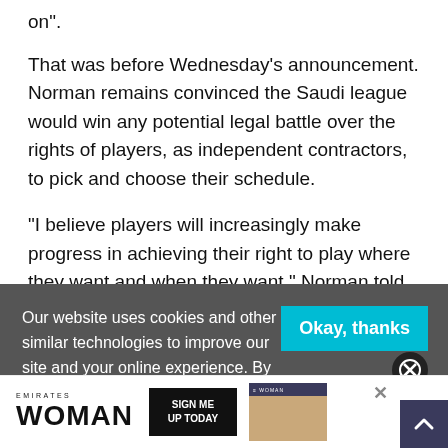on".
That was before Wednesday’s announcement. Norman remains convinced the Saudi league would win any potential legal battle over the rights of players, as independent contractors, to pick and choose their schedule.
“I believe players will increasingly make progress in achieving their right to play where they want and when they want,” Norman told
Our website uses cookies and other similar technologies to improve our site and your online experience. By continuing to use our website you consent to cookies being u
[Figure (advertisement): Emirates Woman magazine ad with SIGN ME UP TODAY button and phone preview image, with X close button]